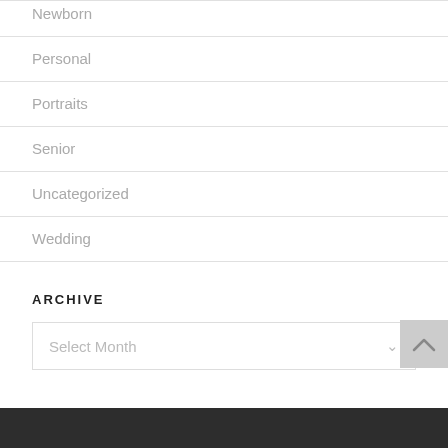Newborn
Personal
Portraits
Senior
Uncategorized
Wedding
ARCHIVE
Select Month